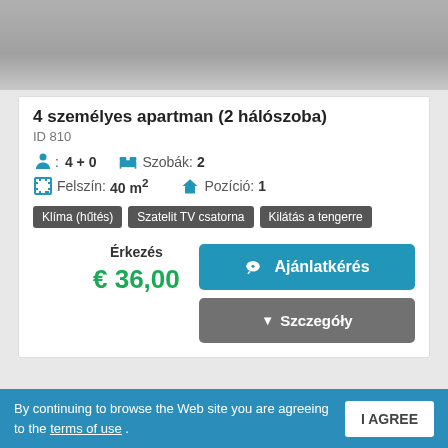[Figure (photo): Gray placeholder image at top of card]
4 személyes apartman (2 hálószoba)
ID 810
4 + 0   Szobák: 2   Felszín: 40 m²   Pozíció: 1
Klíma (hűtés)
Szatelit TV csatorna
Kilátás a tengerre
Érkezés
€ 36,00
Ajánlatkérés
Szczegóły
Leírás
By continuing to browse the Web site you are agreeing to the terms of use .